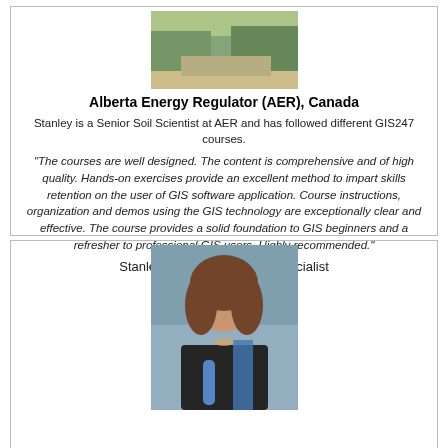[Figure (photo): Outdoor landscape photo showing vegetation and a road, partial view at top of card]
Alberta Energy Regulator (AER), Canada
Stanley is a Senior Soil Scientist at AER and has followed different GIS247 courses.
“The courses are well designed. The content is comprehensive and of high quality. Hands-on exercises provide an excellent method to impart skills retention on the user of GIS software application. Course instructions, organization and demos using the GIS technology are exceptionally clear and effective. The course provides a solid foundation to GIS beginners and a refresher to professional GIS users. Highly recommended.”
Stanley Ngwa, Senior Soil Specialist
[Figure (photo): Portrait photo of a woman with curly brown hair wearing a black dress and holding a blue tube/scroll, photographed against a blue-grey background]